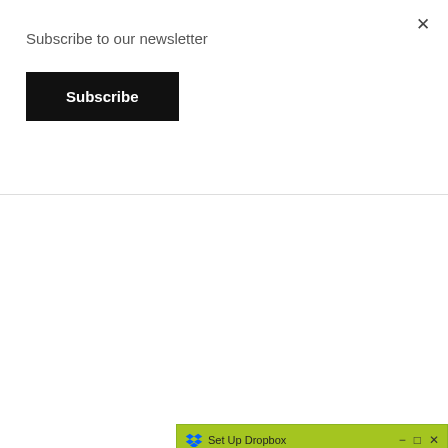Subscribe to our newsletter
Subscribe
[Figure (screenshot): Set Up Dropbox application window with Dropbox logo, Sign in with Google button, or divider, Email field, and Password field on a green-accented title bar.]